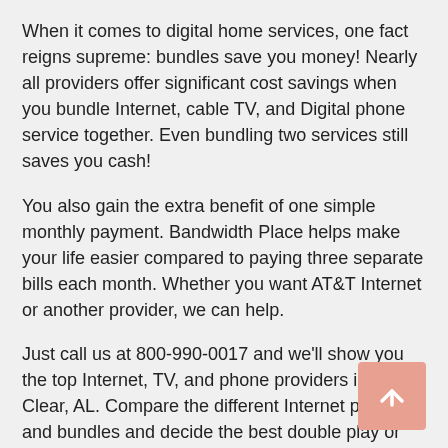When it comes to digital home services, one fact reigns supreme: bundles save you money! Nearly all providers offer significant cost savings when you bundle Internet, cable TV, and Digital phone service together. Even bundling two services still saves you cash!
You also gain the extra benefit of one simple monthly payment. Bandwidth Place helps make your life easier compared to paying three separate bills each month. Whether you want AT&T Internet or another provider, we can help.
Just call us at 800-990-0017 and we'll show you the top Internet, TV, and phone providers in Point Clear, AL. Compare the different Internet plans and bundles and decide the best double play or triple play deal for your household. It's really easy!